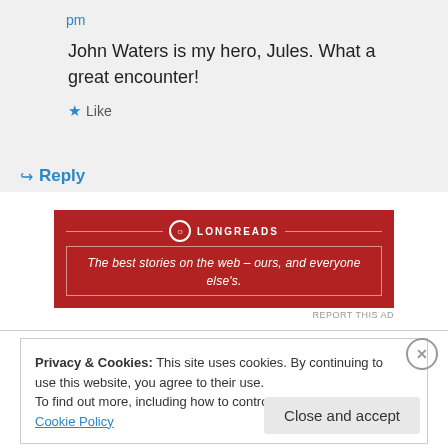pm
John Waters is my hero, Jules. What a great encounter!
★ Like
↳ Reply
[Figure (other): Longreads advertisement banner. Red background with logo and tagline: The best stories on the web – ours, and everyone else's.]
REPORT THIS AD
Privacy & Cookies: This site uses cookies. By continuing to use this website, you agree to their use.
To find out more, including how to control cookies, see here: Cookie Policy
Close and accept